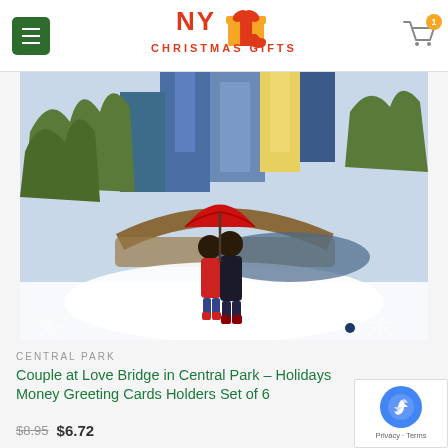NY Christmas Gifts
[Figure (photo): A couple standing under a red umbrella in Central Park in winter, with the Love Bridge arch visible behind them, surrounded by snow, and New York City skyscrapers in the background.]
CENTRAL PARK
Couple at Love Bridge in Central Park – Holidays Money Greeting Cards Holders Set of 6
$8.95  $6.72